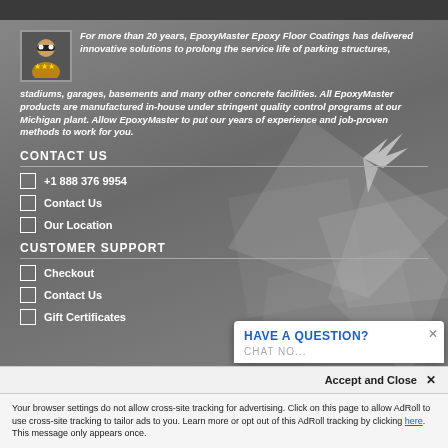For more than 20 years, EpoxyMaster Epoxy Floor Coatings has delivered innovative solutions to prolong the service life of parking structures, stadiums, garages, basements and many other concrete facilities. All EpoxyMaster products are manufactured in-house under stringent quality control programs at our Michigan plant. Allow EpoxyMaster to put our years of experience and job-proven methods to work for you.
CONTACT US
+1 888 376 9954
Contact Us
Our Location
CUSTOMER SUPPORT
Checkout
Contact Us
Gift Certificates
HAVE A QUESTION?
CHAT NO...
Accept and Close ✕
Your browser settings do not allow cross-site tracking for advertising. Click on this page to allow AdRoll to use cross-site tracking to tailor ads to you. Learn more or opt out of this AdRoll tracking by clicking here. This message only appears once.